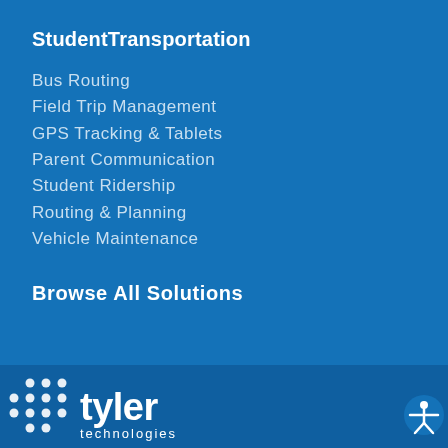StudentTransportation
Bus Routing
Field Trip Management
GPS Tracking & Tablets
Parent Communication
Student Ridership
Routing & Planning
Vehicle Maintenance
Browse All Solutions
[Figure (logo): Tyler Technologies logo with dot grid pattern and white wordmark 'tyler technologies' on dark blue background]